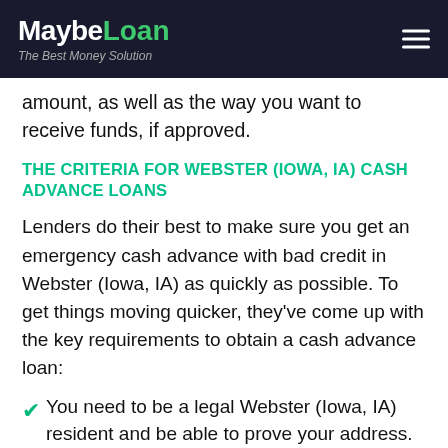[Figure (logo): MaybeLoan logo with tagline 'The Best Money Solution' on dark background with hamburger menu icon]
amount, as well as the way you want to receive funds, if approved.
THE CRITERIA FOR WEBSTER (IOWA, IA) CASH ADVANCE LOANS
Lenders do their best to make sure you get an emergency cash advance with bad credit in Webster (Iowa, IA) as quickly as possible. To get things moving quicker, they've come up with the key requirements to obtain a cash advance loan:
You need to be a legal Webster (Iowa, IA) resident and be able to prove your address.
Lenders have to check if the contact info you provide as valid.
A stable source of income is required, and you